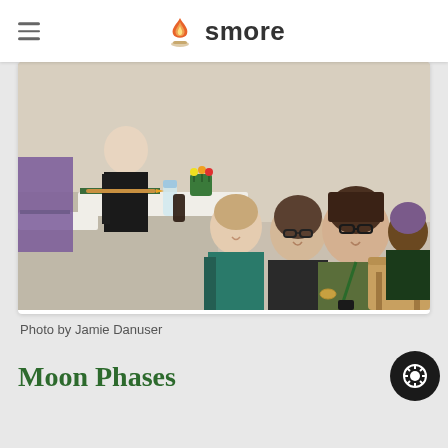smore
[Figure (photo): Three women sitting in auditorium-style chairs smiling at the camera at what appears to be a professional development or educational event. Other attendees visible in the background.]
Photo by Jamie Danuser
Moon Phases